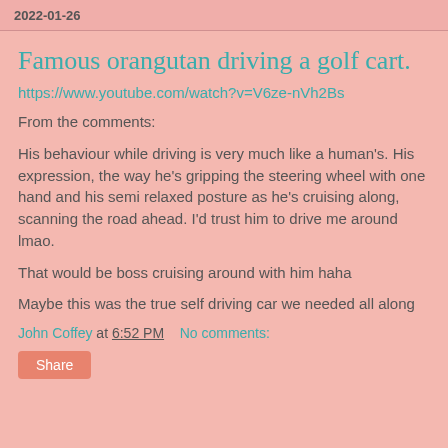2022-01-26
Famous orangutan driving a golf cart.
https://www.youtube.com/watch?v=V6ze-nVh2Bs
From the comments:
His behaviour while driving is very much like a human's. His expression, the way he's gripping the steering wheel with one hand and his semi relaxed posture as he's cruising along, scanning the road ahead. I'd trust him to drive me around lmao.
That would be boss cruising around with him haha
Maybe this was the true self driving car we needed all along
John Coffey at 6:52 PM    No comments: